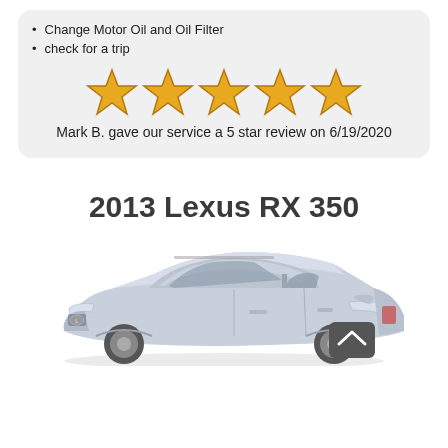Change Motor Oil and Oil Filter
check for a trip
[Figure (other): Five gold star rating icons displayed in a row]
Mark B. gave our service a 5 star review on 6/19/2020
2013 Lexus RX 350
[Figure (photo): Photo of a silver 2013 Lexus RX 350 SUV, front three-quarter view, with a scroll-to-top button overlay in the lower right]